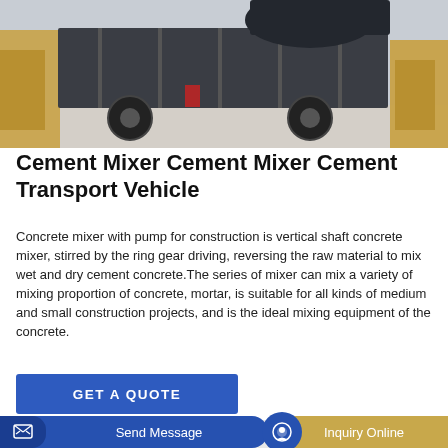[Figure (photo): A dark grey cement mixer / concrete mixer transport vehicle on a concrete yard, with construction machinery and yellow equipment visible in the background.]
Cement Mixer Cement Mixer Cement Transport Vehicle
Concrete mixer with pump for construction is vertical shaft concrete mixer, stirred by the ring gear driving, reversing the raw material to mix wet and dry cement concrete.The series of mixer can mix a variety of mixing proportion of concrete, mortar, is suitable for all kinds of medium and small construction projects, and is the ideal mixing equipment of the concrete.
GET A QUOTE
Send Message
Inquiry Online